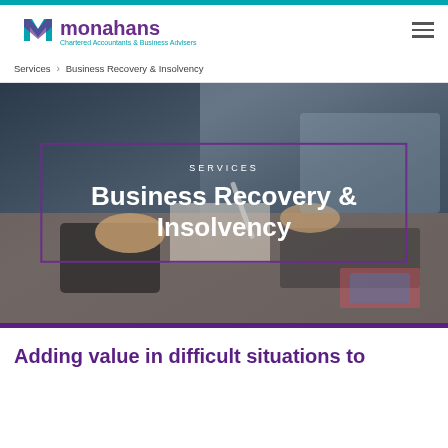[Figure (logo): Monahans logo with teal M symbol and purple text reading 'monahans Chartered Accountants & Business Advisers']
Services > Business Recovery & Insolvency
[Figure (photo): Background photo of hands using a calculator and laptop on a desk with documents, dark blurred background]
SERVICES
Business Recovery & Insolvency
Adding value in difficult situations to